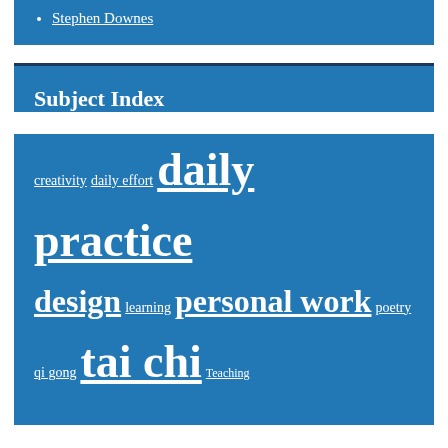Stephen Downes
Subject Index
creativity daily effort daily practice design learning personal work poetry qi gong tai chi Teaching
Sun in Virgo II - the Moirai  |